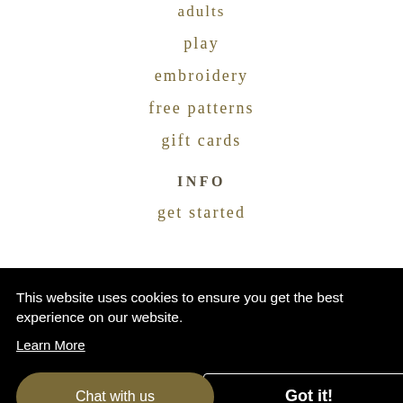adults
play
embroidery
free patterns
gift cards
INFO
get started
This website uses cookies to ensure you get the best experience on our website.
Learn More
Chat with us
Got it!